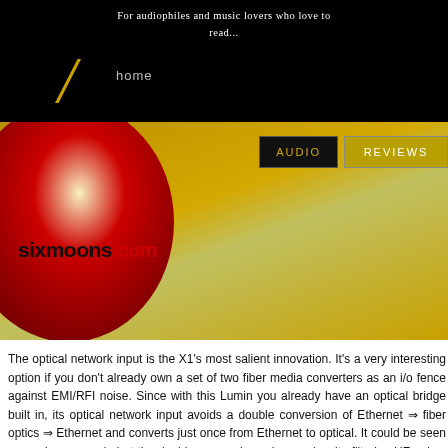For audiophiles and music lovers who love to read...
[Figure (logo): Sixmoons.com website logo and banner with golden/yellow background, red circle with numeral 6, site name sixmoons.com, navigation buttons for AUDIO and REVIEWS, tagline for audiophiles and music lovers]
The optical network input is the X1's most salient innovation. It's a very interesting option if you don't already own a set of two fiber media converters as an i/o fence against EMI/RFI noise. Since with this Lumin you already have an optical bridge built in, its optical network input avoids a double conversion of Ethernet ⇒ fiber optics ⇒ Ethernet and converts just once from Ethernet to optical. It could be seen as a minor upgrade but the double conversion scheme, despite filtering HF noise, adds substantial jitter and finally impacts the overall accuracy of